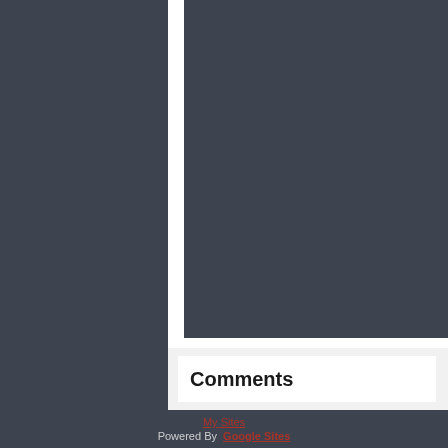[Figure (screenshot): Dark grey web page layout with a vertical white divider separating a left sidebar panel from a main content area. Both panels have the same dark background color #3d4450.]
Comments
My Sites
Powered By  Google Sites